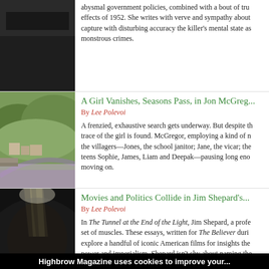[Figure (photo): Dark image, partially visible at top, cut off]
abysmal government policies, combined with a bout of tr... effects of 1952. She writes with verve and sympathy about... capture with disturbing accuracy the killer's mental state as... monstrous crimes.
[Figure (photo): English village with hills and stone buildings, lavender fields in foreground]
A Girl Vanishes, Seasons Pass, in Jon McGreg...
By Lee Polevoi
A frenzied, exhaustive search gets underway. But despite th... trace of the girl is found. McGregor, employing a kind of n... the villagers—Jones, the school janitor; Jane, the vicar; the... teens Sophie, James, Liam and Deepak—pausing long eno... moving on.
[Figure (photo): Person standing in a tunnel with dramatic light beams]
Movies and Politics Collide in Jim Shepard's...
By Lee Polevoi
In The Tunnel at the End of the Light, Jim Shepard, a profe... set of muscles. These essays, written for The Believer duri... explore a handful of iconic American films for insights the... power and imperialism. Shepard isn't shy about naming the... US into unwanted wars and a pernicious global recession.
[Figure (illustration): Cartoon/illustration partially visible at bottom]
A... Rec... for... the... Cen... A...
Highbrow Magazine uses cookies to improve your...